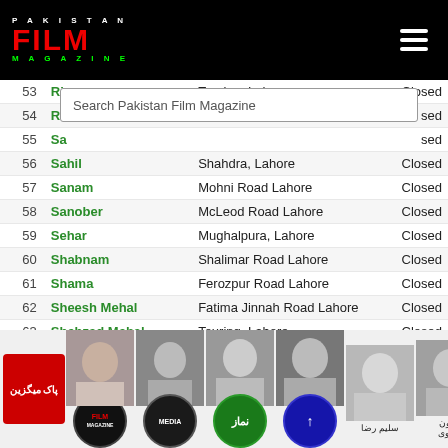[Figure (logo): Pakistan Film Magazine logo on black header with hamburger menu icon]
| # | Cinema | Location | Status |
| --- | --- | --- | --- |
| 53 | Riaz | Touring, Lahore | Closed |
| 54 | Ri... |  | ...sed |
| 55 | Sa... |  | ...sed |
| 56 | Sahil | Shahdra, Lahore | Closed |
| 57 | Sanam | Mohni Road Lahore | Closed |
| 58 | Sanober | McLeod Road Lahore | Closed |
| 59 | Sehar | Mughalpura, Lahore | Closed |
| 60 | Shabnam | Shalimar Road Lahore | Closed |
| 61 | Shama | Ferozpur Road Lahore | Closed |
| 62 | Sheesh Mehal | Fatima Jinnah Road Lahore | Closed |
| 63 | Shehzad Mehal | Touring, Lahore | Closed |
| 64 | Shoaib | Shadipur, Lahore | Closed |
| 65 | Sitara | Batapur, Lahore | Closed |
| 66 | Sitara Touring | Touring Talkies | Closed |
| 67 | Trannum | Shahi Muhallah Lahore | Closed |
| 68 | Venus | Multan Road Lahore | Closed |
[Figure (screenshot): Bottom strip with actor/celebrity photos and app icons including Pakistan Film Magazine Urdu logo, Film, Media, Namaz, and other circular app icons, with two celebrity photos labeled Saleem Raza and Shaboon Rizvi in Urdu]